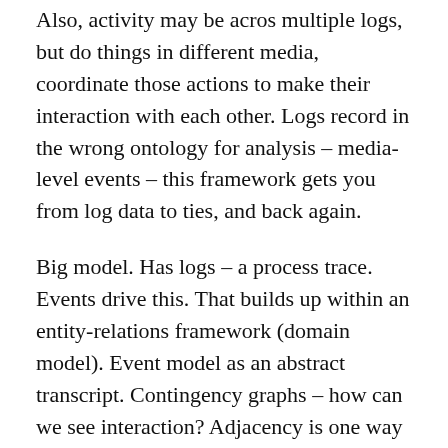Also, activity may be acros multiple logs, but do things in different media, coordinate those actions to make their interaction with each other. Logs record in the wrong ontology for analysis – media-level events – this framework gets you from log data to ties, and back again.
Big model. Has logs – a process trace. Events drive this. That builds up within an entity-relations framework (domain model). Event model as an abstract transcript. Contingency graphs – how can we see interaction? Adjacency is one way of spotting it. Identify empirical relationships between events that collectively evidence uptake; they are contingencies. One example: threading relations – to reply to a message, it must first be written. Other contingencies based on temporal...